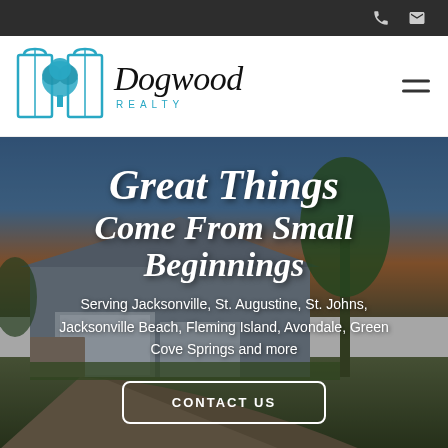Dogwood Realty — navigation header with logo and hamburger menu
[Figure (photo): Hero image of a residential house with stone facade, garage, brick paved driveway, green lawn, and trees against a dusk sky]
Great Things Come From Small Beginnings
Serving Jacksonville, St. Augustine, St. Johns, Jacksonville Beach, Fleming Island, Avondale, Green Cove Springs and more
CONTACT US